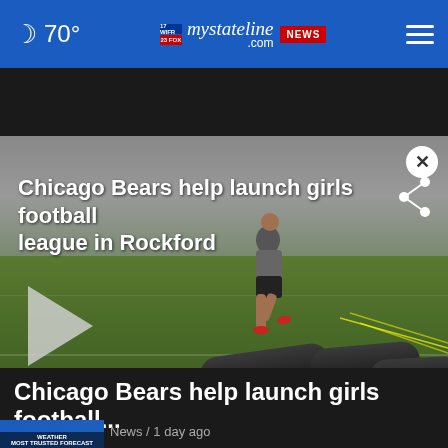70° mystateline.com NEWS
[Figure (screenshot): Video player showing a girl running through football drills on an indoor field with blocking pads. Video title overlay reads: 'Chicago Bears help launch girls football league in Rockford'. A play button and share icon are visible, along with a close (X) button.]
Chicago Bears help launch girls football...
[Figure (screenshot): Thumbnail image of a weather forecast segment with blue background. Text reads 'WEATHER MOST TRUSTED FORECAST'.]
News / 1 day ago